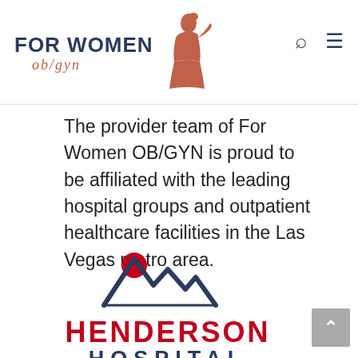[Figure (logo): For Women OB/GYN logo with female silhouette in rose/terracotta color, text 'FOR WOMEN' in dark navy bold uppercase and 'ob/gyn' in italic script below]
The provider team of For Women OB/GYN is proud to be affiliated with the leading hospital groups and outpatient healthcare facilities in the Las Vegas metro area.
[Figure (logo): Henderson Hospital logo: mountain range outline in dark navy with a red circle sun above the left peak, bold red text 'HENDERSON' and dark navy text 'HOSPITAL' below]